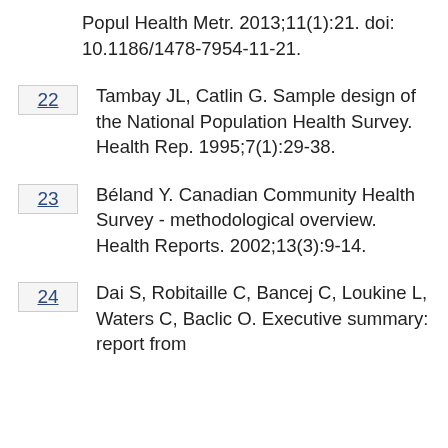Popul Health Metr. 2013;11(1):21. doi: 10.1186/1478-7954-11-21.
22 Tambay JL, Catlin G. Sample design of the National Population Health Survey. Health Rep. 1995;7(1):29-38.
23 Béland Y. Canadian Community Health Survey - methodological overview. Health Reports. 2002;13(3):9-14.
24 Dai S, Robitaille C, Bancej C, Loukine L, Waters C, Baclic O. Executive summary: report from